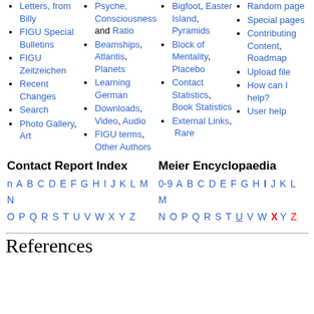Letters, from Billy
FIGU Special Bulletins
FIGU Zeitzeichen
Recent Changes
Search
Photo Gallery, Art
Psyche, Consciousness and Ratio
Beamships, Atlantis, Planets
Learning German
Downloads, Video, Audio
FIGU terms, Other Authors
Bigfoot, Easter Island, Pyramids
Block of Mentality, Placebo
Contact Statistics, Book Statistics
External Links, Rare
Random page
Special pages
Contributing Content, Roadmap
Upload file
How can I help?
User help
Contact Report Index
Meier Encyclopaedia
n A B C D E F G H I J K L M N O P Q R S T U V W X Y Z
0-9 A B C D E F G H I J K L M N O P Q R S T U V W X Y Z
References